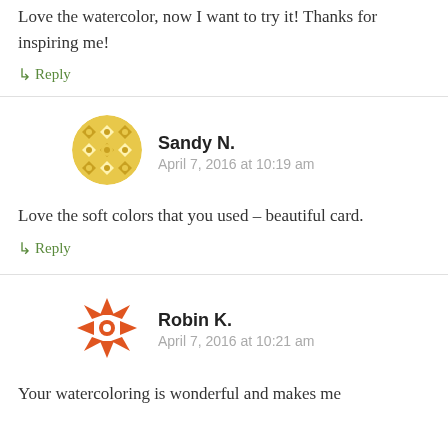Love the watercolor, now I want to try it! Thanks for inspiring me!
↳ Reply
[Figure (illustration): Circular avatar with golden/yellow geometric pattern for Sandy N.]
Sandy N.
April 7, 2016 at 10:19 am
Love the soft colors that you used – beautiful card.
↳ Reply
[Figure (illustration): Circular avatar with orange/red geometric snowflake pattern for Robin K.]
Robin K.
April 7, 2016 at 10:21 am
Your watercoloring is wonderful and makes me